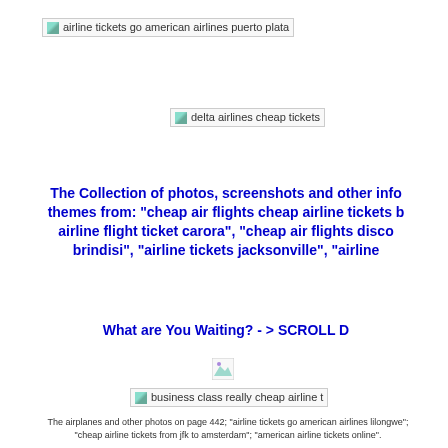[Figure (other): Broken image placeholder: airline tickets go american airlines puerto plata]
[Figure (other): Broken image placeholder: delta airlines cheap tickets]
The Collection of photos, screenshots and other info themes from: "cheap air flights cheap airline tickets b airline flight ticket carora", "cheap air flights disco brindisi", "airline tickets jacksonville", "airline
What are You Waiting? -> SCROLL D
[Figure (other): Small broken image placeholder]
[Figure (other): Broken image placeholder: business class really cheap airline t]
The airplanes and other photos on page 442; "airline tickets go american airlines lilongwe"; "cheap airline tickets from jfk to amsterdam"; "american airline tickets online".